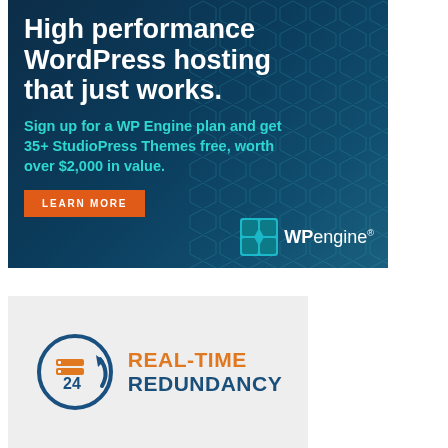[Figure (infographic): WP Engine advertisement banner with dark teal background and geometric pattern. Headline: 'High performance WordPress hosting that just works.' Subtext: 'Sign up for a WP Engine plan and get 35+ StudioPress Themes free, worth over $2,000 in value.' Orange 'LEARN MORE' button and WP Engine logo.]
[Figure (logo): Real-Time Redundancy logo: circular arrow icon with server stack and '24' text inside, with orange 'REAL-TIME' and dark blue 'REDUNDANCY' text, on light gray background.]